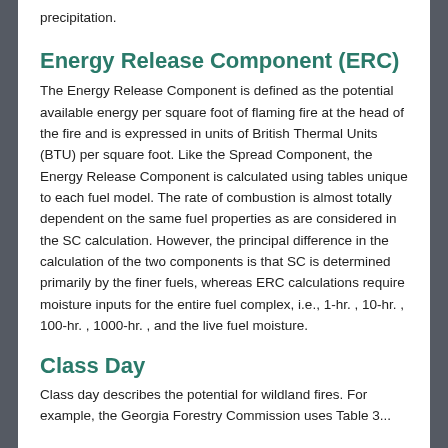precipitation.
Energy Release Component (ERC)
The Energy Release Component is defined as the potential available energy per square foot of flaming fire at the head of the fire and is expressed in units of British Thermal Units (BTU) per square foot. Like the Spread Component, the Energy Release Component is calculated using tables unique to each fuel model. The rate of combustion is almost totally dependent on the same fuel properties as are considered in the SC calculation. However, the principal difference in the calculation of the two components is that SC is determined primarily by the finer fuels, whereas ERC calculations require moisture inputs for the entire fuel complex, i.e., 1-hr. , 10-hr. , 100-hr. , 1000-hr. , and the live fuel moisture.
Class Day
Class day describes the potential for wildland fires. For example, the Georgia Forestry Commission uses Table 3...